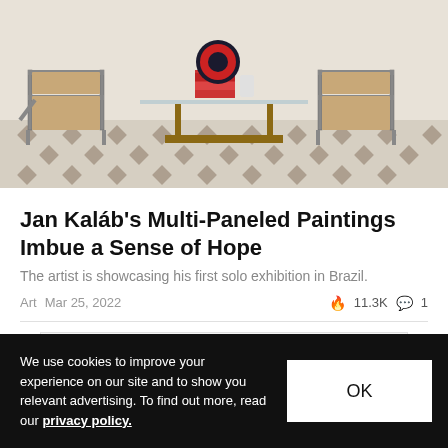[Figure (photo): Photo of a minimalist room interior with two Breuer-style cane chairs, a glass-top coffee table with art books and a circular artwork, on a geometric patterned rug.]
Jan Kaláb's Multi-Paneled Paintings Imbue a Sense of Hope
The artist is showcasing his first solo exhibition in Brazil.
Art   Mar 25, 2022   🔥 11.3K   💬 1
[Figure (photo): Partial view of a multi-paneled geometric checkerboard-style painting with gray and white squares.]
We use cookies to improve your experience on our site and to show you relevant advertising. To find out more, read our privacy policy.